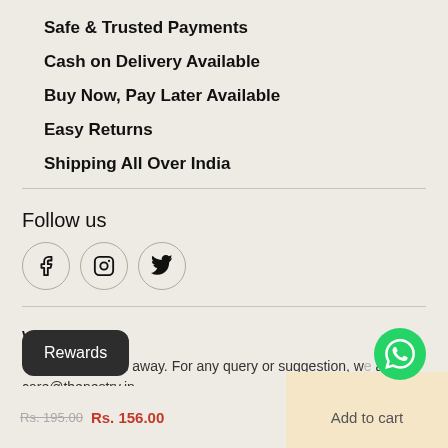Safe & Trusted Payments
Cash on Delivery Available
Buy Now, Pay Later Available
Easy Returns
Shipping All Over India
Follow us
[Figure (other): Social media icons for Facebook, Instagram, and Twitter in circular bordered buttons]
Write to us
We are an e-mail away. For any query or suggestion, write to us at care@thenestry.in